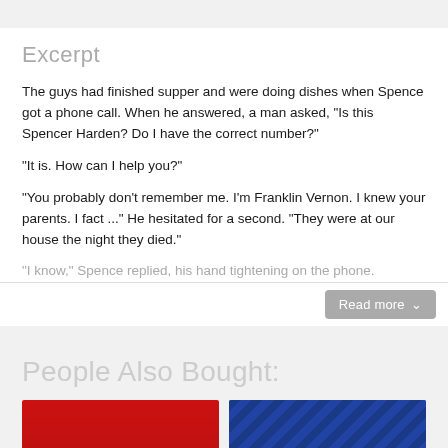Excerpt
The guys had finished supper and were doing dishes when Spence got a phone call. When he answered, a man asked, "Is this Spencer Harden? Do I have the correct number?"
"It is. How can I help you?"
"You probably don't remember me. I'm Franklin Vernon. I knew your parents. I fact ..." He hesitated for a second. "They were at our house the night they died."
"I know," Spence replied, his hand tightening on the phone.
People Also Bought:
[Figure (photo): Red book cover with Siren Publishing Classic label at bottom]
[Figure (photo): Blue patterned book cover]